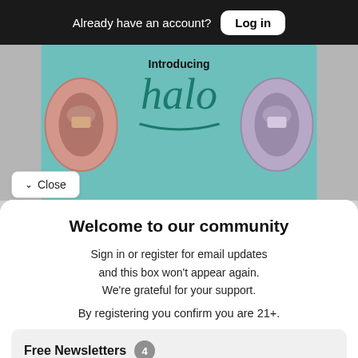Already have an account? Log in
[Figure (photo): Amazon Halo fitness band advertisement showing two wristbands (pink and purple) with text 'Introducing halo']
Close
Welcome to our community
Sign in or register for email updates and this box won't appear again. We're grateful for your support.
By registering you confirm you are 21+.
Free Newsletters 4
Bohemian Newsletter (weekly) — News stories, arts and dining